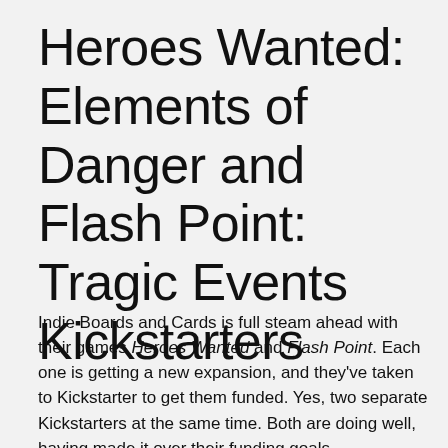Heroes Wanted: Elements of Danger and Flash Point: Tragic Events Kickstarters
Indie Boards and Cards is full steam ahead with their games Heroes Wanted and Flash Point. Each one is getting a new expansion, and they've taken to Kickstarter to get them funded. Yes, two separate Kickstarters at the same time. Both are doing well, having made it over their funding goals.